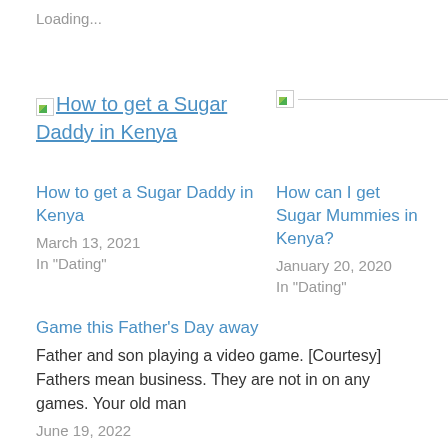Loading...
[Figure (photo): Broken image placeholder with link text: How to get a Sugar Daddy in Kenya]
[Figure (photo): Broken image placeholder with horizontal line]
How to get a Sugar Daddy in Kenya
March 13, 2021
In "Dating"
How can I get Sugar Mummies in Kenya?
January 20, 2020
In "Dating"
Game this Father's Day away
Father and son playing a video game. [Courtesy] Fathers mean business. They are not in on any games. Your old man
June 19, 2022
In "News Updates"